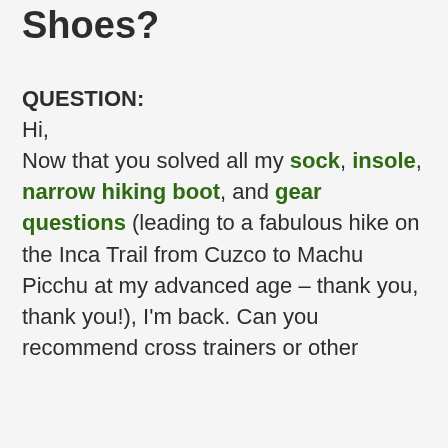Narrow Cross Training Shoes?
QUESTION:
Hi,
Now that you solved all my sock, insole, narrow hiking boot, and gear questions (leading to a fabulous hike on the Inca Trail from Cuzco to Machu Picchu at my advanced age – thank you, thank you!), I'm back. Can you recommend cross trainers or other